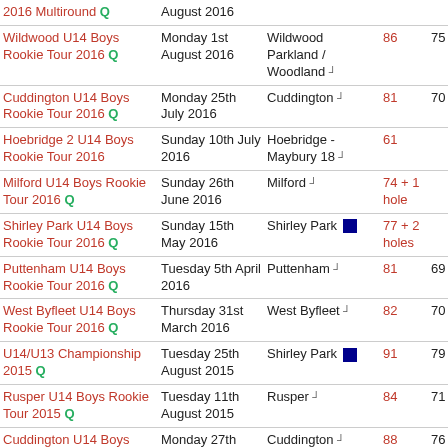| Event | Date | Venue | Score |  |  |
| --- | --- | --- | --- | --- | --- |
| 2016 Multiround Q | August 2016 |  |  |  |  |
| Wildwood U14 Boys Rookie Tour 2016 Q | Monday 1st August 2016 | Wildwood Parkland / Woodland | 86 | 75 | 33 |
| Cuddington U14 Boys Rookie Tour 2016 Q | Monday 25th July 2016 | Cuddington | 81 | 70 | 37 |
| Hoebridge 2 U14 Boys Rookie Tour 2016 | Sunday 10th July 2016 | Hoebridge - Maybury 18 | 61 |  | 40 |
| Milford U14 Boys Rookie Tour 2016 Q | Sunday 26th June 2016 | Milford | 74 + 1 hole |  | 36 |
| Shirley Park U14 Boys Rookie Tour 2016 Q | Sunday 15th May 2016 | Shirley Park | 77 + 2 holes |  | 29 |
| Puttenham U14 Boys Rookie Tour 2016 Q | Tuesday 5th April 2016 | Puttenham | 81 | 69 | 38 |
| West Byfleet U14 Boys Rookie Tour 2016 Q | Thursday 31st March 2016 | West Byfleet | 82 | 70 | 36 |
| U14/U13 Championship 2015 Q | Tuesday 25th August 2015 | Shirley Park | 91 | 79 |  |
| Rusper U14 Boys Rookie Tour 2015 Q | Tuesday 11th August 2015 | Rusper | 84 | 71 | 37 |
| Cuddington U14 Boys | Monday 27th | Cuddington | 88 | 76 | 31 |